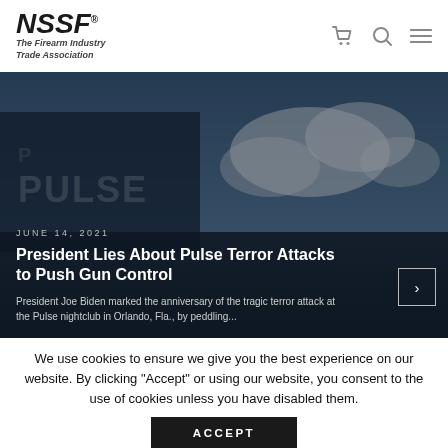NSSF – The Firearm Industry Trade Association
[Figure (photo): Hero image showing the Pulse nightclub exterior sign against a dramatic cloudy sky, with dark overlay. Overlaid text reads: JUNE 14, 2021 / President Lies About Pulse Terror Attacks to Push Gun Control / President Joe Biden marked the anniversary of the tragic terror attack at the Pulse nightclub in Orlando, Fla., by peddling...]
We use cookies to ensure we give you the best experience on our website. By clicking "Accept" or using our website, you consent to the use of cookies unless you have disabled them.
ACCEPT